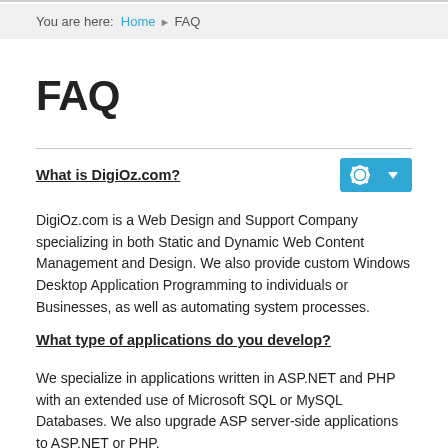You are here: Home ▶ FAQ
FAQ
What is DigiOz.com?
DigiOz.com is a Web Design and Support Company specializing in both Static and Dynamic Web Content Management and Design. We also provide custom Windows Desktop Application Programming to individuals or Businesses, as well as automating system processes.
What type of applications do you develop?
We specialize in applications written in ASP.NET and PHP with an extended use of Microsoft SQL or MySQL Databases. We also upgrade ASP server-side applications to ASP.NET or PHP.
How do you submit a new technology website?